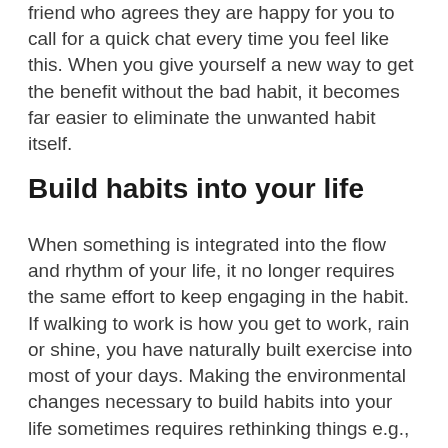friend who agrees they are happy for you to call for a quick chat every time you feel like this. When you give yourself a new way to get the benefit without the bad habit, it becomes far easier to eliminate the unwanted habit itself.
Build habits into your life
When something is integrated into the flow and rhythm of your life, it no longer requires the same effort to keep engaging in the habit. If walking to work is how you get to work, rain or shine, you have naturally built exercise into most of your days. Making the environmental changes necessary to build habits into your life sometimes requires rethinking things e.g.,